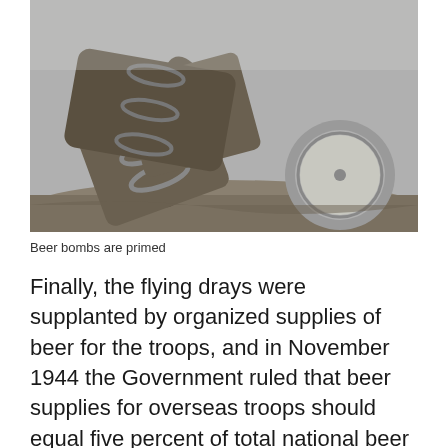[Figure (photo): Black and white photograph of beer barrels/kegs lying on the ground, some tipped over. The barrels appear to be wooden casks. There is also what looks like a round metal drum or container on the right side.]
Beer bombs are primed
Finally, the flying drays were supplanted by organized supplies of beer for the troops, and in November 1944 the Government ruled that beer supplies for overseas troops should equal five percent of total national beer production: this meant all naturally condition beer with a lifespan of six or more weeks, all stronger ‘export’ beers, and all beers that were capable of being pasteurized were to be put in the capable hands of the Naafe, the Force’s catering service. Of course at the same time the breweries in liberated sections of France were also being put to good